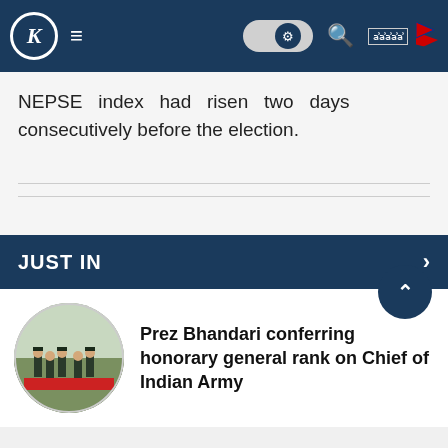K ≡ [settings] [search] [नेपाली] [flag]
NEPSE index had risen two days consecutively before the election.
JUST IN
[Figure (photo): Circular thumbnail photo of military personnel in ceremonial uniform on a red carpet outdoors]
Prez Bhandari conferring honorary general rank on Chief of Indian Army